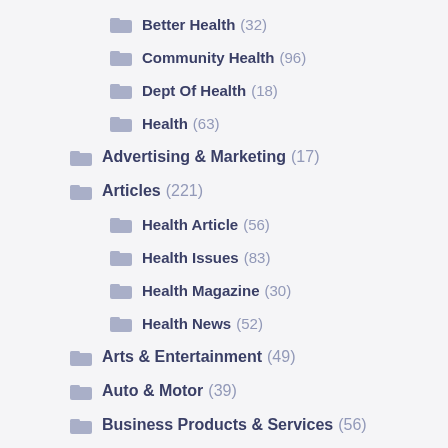Better Health (32)
Community Health (96)
Dept Of Health (18)
Health (63)
Advertising & Marketing (17)
Articles (221)
Health Article (56)
Health Issues (83)
Health Magazine (30)
Health News (52)
Arts & Entertainment (49)
Auto & Motor (39)
Business Products & Services (56)